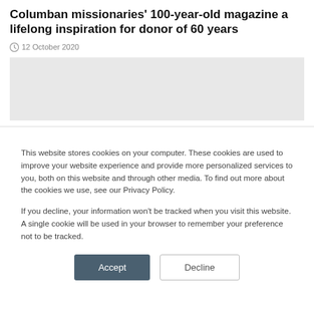Columban missionaries' 100-year-old magazine a lifelong inspiration for donor of 60 years
12 October 2020
[Figure (photo): Gray placeholder image for article photo]
This website stores cookies on your computer. These cookies are used to improve your website experience and provide more personalized services to you, both on this website and through other media. To find out more about the cookies we use, see our Privacy Policy.
If you decline, your information won't be tracked when you visit this website. A single cookie will be used in your browser to remember your preference not to be tracked.